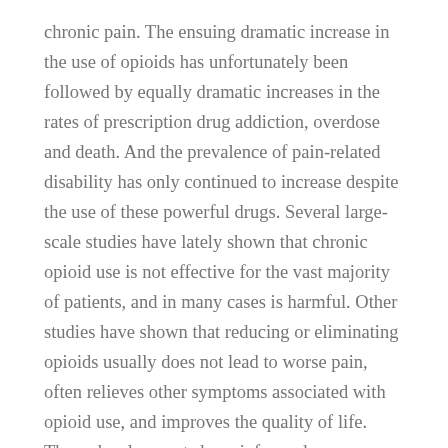chronic pain. The ensuing dramatic increase in the use of opioids has unfortunately been followed by equally dramatic increases in the rates of prescription drug addiction, overdose and death. And the prevalence of pain-related disability has only continued to increase despite the use of these powerful drugs. Several large-scale studies have lately shown that chronic opioid use is not effective for the vast majority of patients, and in many cases is harmful. Other studies have shown that reducing or eliminating opioids usually does not lead to worse pain, often relieves other symptoms associated with opioid use, and improves the quality of life. These developments have informed our evolving approach to opioid prescribing at Pain Management Specialists. We no longer believe that most patients can safely and effectively use opioids for the treatment of chronic pain, and we usually do not offer them. At the same time, we have increased our emphasis